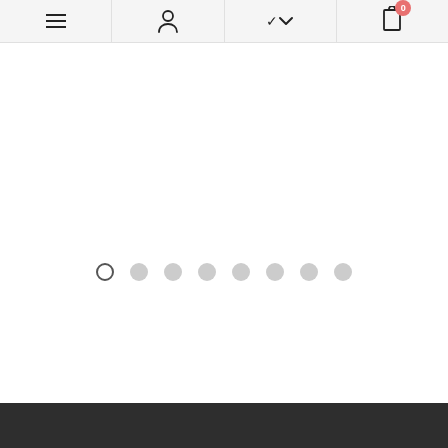[Figure (screenshot): Mobile e-commerce navigation bar with four cells: hamburger menu icon, person/account icon, chevron dropdown, and clipboard/cart icon with red badge showing '0']
[Figure (other): Horizontal row of 8 pagination dots; first dot is outlined (active), remaining 7 are filled light gray]
[Figure (other): Dark footer bar at bottom of page]